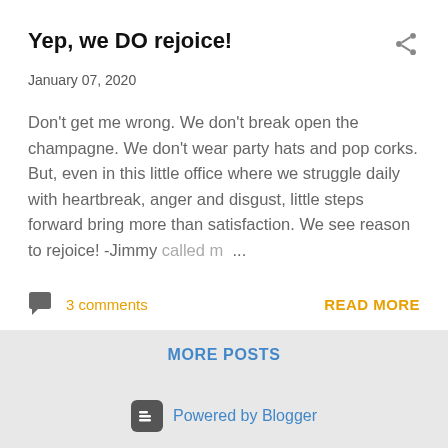Yep, we DO rejoice!
January 07, 2020
Don't get me wrong. We don't break open the champagne. We don't wear party hats and pop corks. But, even in this little office where we struggle daily with heartbreak, anger and disgust, little steps forward bring more than satisfaction. We see reason to rejoice! -Jimmy called m...
3 comments
READ MORE
MORE POSTS
Powered by Blogger